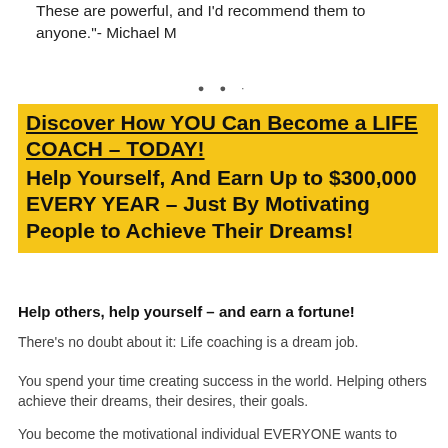These are powerful, and I'd recommend them to anyone."- Michael M
Discover How YOU Can Become a LIFE COACH – TODAY! Help Yourself, And Earn Up to $300,000 EVERY YEAR – Just By Motivating People to Achieve Their Dreams!
Help others, help yourself – and earn a fortune!
There's no doubt about it: Life coaching is a dream job.
You spend your time creating success in the world. Helping others achieve their dreams, their desires, their goals.
You become the motivational individual EVERYONE wants to